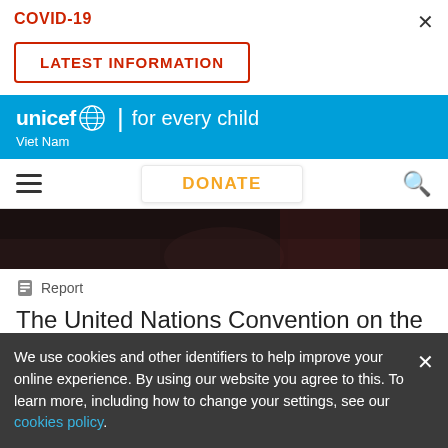COVID-19
LATEST INFORMATION
unicef for every child | Viet Nam
DONATE
[Figure (photo): Dark cropped photo of a person, partially visible at the top of the content area]
Report
The United Nations Convention on the Rights of the Child
We use cookies and other identifiers to help improve your online experience. By using our website you agree to this. To learn more, including how to change your settings, see our cookies policy.